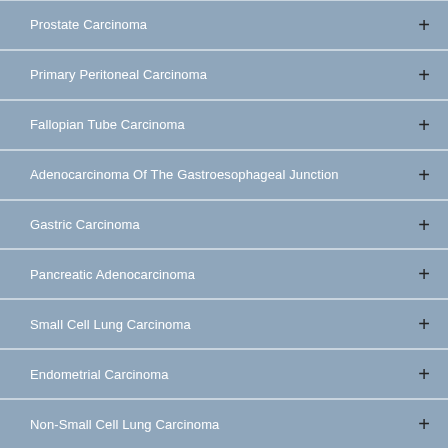Prostate Carcinoma
Primary Peritoneal Carcinoma
Fallopian Tube Carcinoma
Adenocarcinoma Of The Gastroesophageal Junction
Gastric Carcinoma
Pancreatic Adenocarcinoma
Small Cell Lung Carcinoma
Endometrial Carcinoma
Non-Small Cell Lung Carcinoma